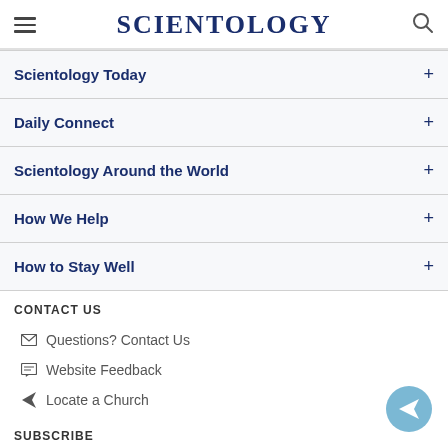SCIENTOLOGY
Scientology Today
Daily Connect
Scientology Around the World
How We Help
How to Stay Well
CONTACT US
Questions? Contact Us
Website Feedback
Locate a Church
SUBSCRIBE
Get the Daily Connect Newsletter
Get the Scientology Today Newsletter